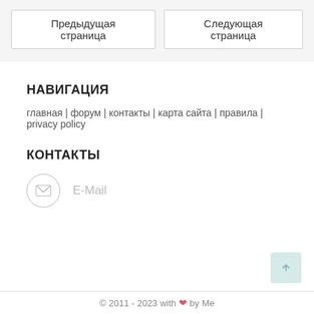Предыдущая страница | Следующая страница
НАВИГАЦИЯ
главная | форум | контакты | карта сайта | правила | privacy policy
КОНТАКТЫ
E-Mail
© 2011 - 2023 with ❤ by Me